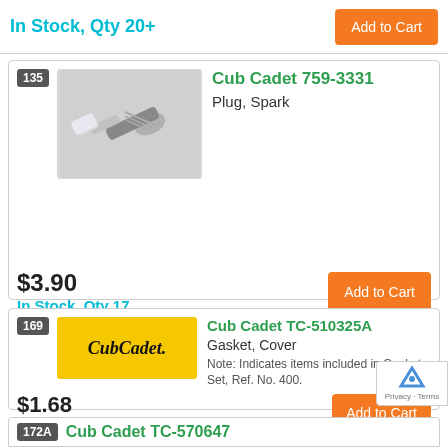In Stock, Qty 20+
Add to Cart
135
[Figure (photo): Spark plug part photo on grey background]
Cub Cadet 759-3331
Plug, Spark
$3.90
In Stock, Qty 17
Add to Cart
169
[Figure (logo): Cub Cadet logo on yellow background]
Cub Cadet TC-510325A
Gasket, Cover
Note: Indicates items included in Gasket Set, Ref. No. 400.
$1.68
Usually ships in 3-12 days
Add to Cart
172A
Cub Cadet TC-570647